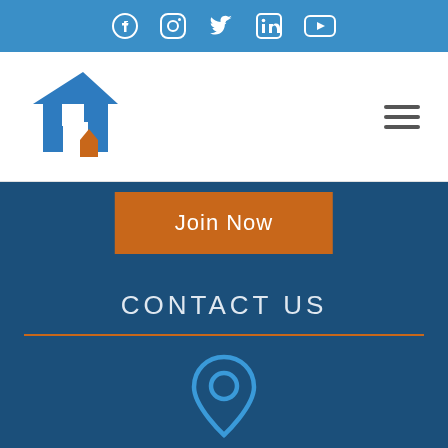Social media icons: Facebook, Instagram, Twitter, LinkedIn, YouTube
[Figure (logo): Blue house/home logo with orange small house accent]
Join Now
CONTACT US
[Figure (illustration): Blue location pin / map marker icon]
X (close button)